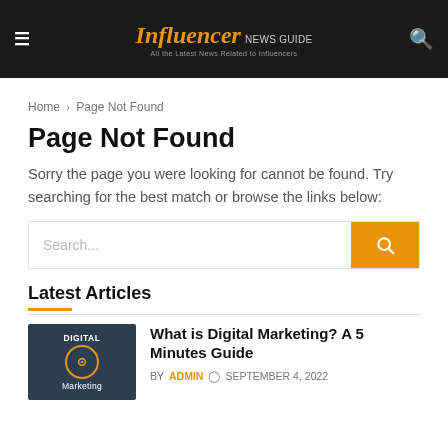Influencer News Guide — All the Latest News Related to Influencers
Home › Page Not Found
Page Not Found
Sorry the page you were looking for cannot be found. Try searching for the best match or browse the links below:
Latest Articles
What is Digital Marketing? A 5 Minutes Guide BY ADMIN © SEPTEMBER 4, 2022